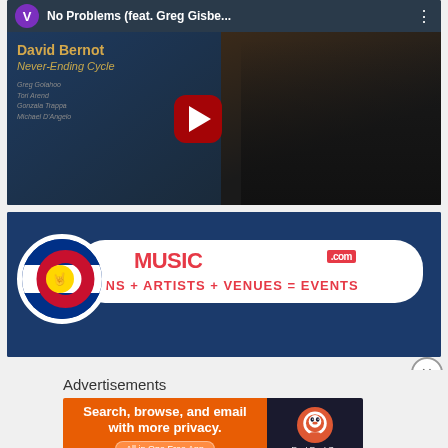[Figure (screenshot): YouTube video thumbnail for 'No Problems (feat. Greg Gisbe...' by David Bernot, Never-Ending Cycle album. Shows a man holding a saxophone with a red play button overlay.]
[Figure (logo): LiveMusicColorado.com banner ad with Colorado flag-inspired logo, tagline: FANS + ARTISTS + VENUES = EVENTS]
Advertisements
[Figure (screenshot): DuckDuckGo advertisement banner: 'Search, browse, and email with more privacy. All in One Free App']